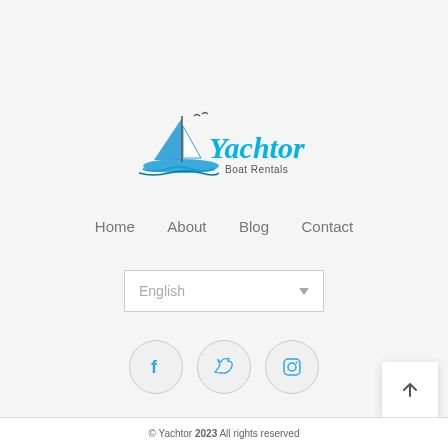[Figure (logo): Yachtor Boat Rentals logo with sailboat illustration and blue script text]
Home  About  Blog  Contact
English
[Figure (infographic): Social media icons: Facebook, Twitter, Instagram in circular grey borders]
© Yachtor 2023 All rights reserved